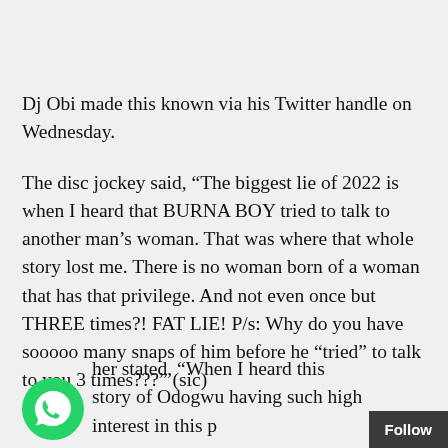Dj Obi made this known via his Twitter handle on Wednesday.
The disc jockey said, “The biggest lie of 2022 is when I heard that BURNA BOY tried to talk to another man’s woman. That was where that whole story lost me. There is no woman born of a woman that has that privilege. And not even once but THREE times?! FAT LIE! P/s: Why do you have sooooo many snaps of him before he “tried” to talk to you 3 times???” (sic)
her stated, “When I heard this story of Odogwu having such high interest in this p